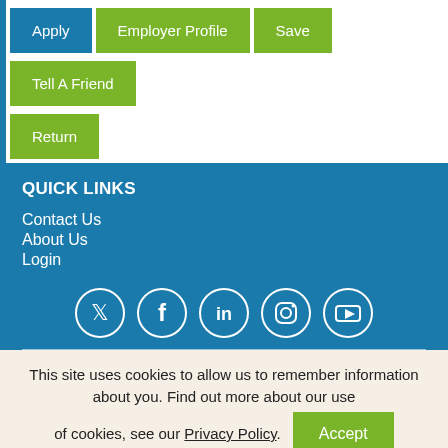Apply
Employer Profile
Save
Tell A Friend
Return
QUICK LINKS
Contact Us
About Us
Login
[Figure (infographic): Social media icons in white circles: Twitter, Facebook, LinkedIn, Instagram, YouTube]
This site uses cookies to allow us to remember information about you. Find out more about our use of cookies, see our Privacy Policy.
Accept